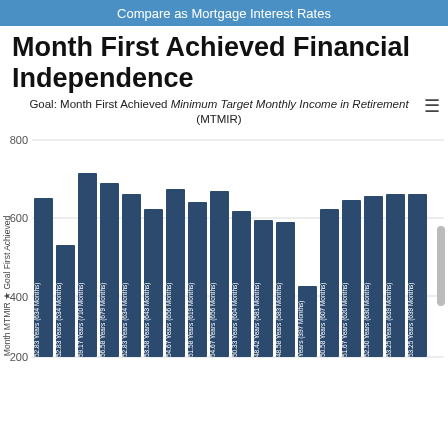Compare as Mortgage Interest Rates
Month First Achieved Financial Independence
Goal: Month First Achieved Minimum Target Monthly Income in Retirement (MTMIR)
[Figure (bar-chart): Month First Achieved Financial Independence]